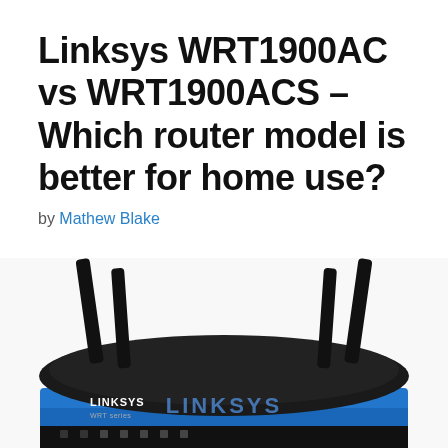Linksys WRT1900AC vs WRT1900ACS – Which router model is better for home use?
by Mathew Blake
[Figure (photo): A Linksys router (blue and black) with four antennas, viewed from a front-top angle. The router has a black mesh top and a blue front panel with the LINKSYS logo. Four tall black antennas extend upward from the corners.]